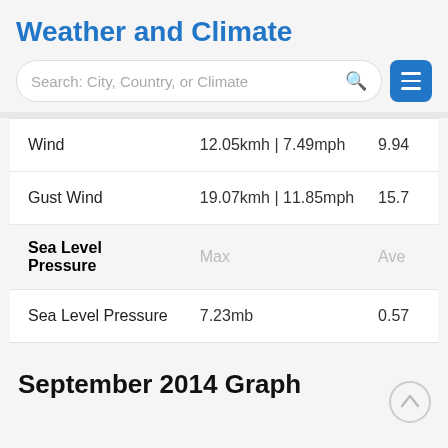Weather and Climate
Search: City, Country, or Climate
|  | Max | Ave |
| --- | --- | --- |
| Wind | 12.05kmh | 7.49mph | 9.94 |
| Gust Wind | 19.07kmh | 11.85mph | 15.7 |
| Sea Level Pressure | Max | Ave |
| Sea Level Pressure | 7.23mb | 0.57 |
September 2014 Graph